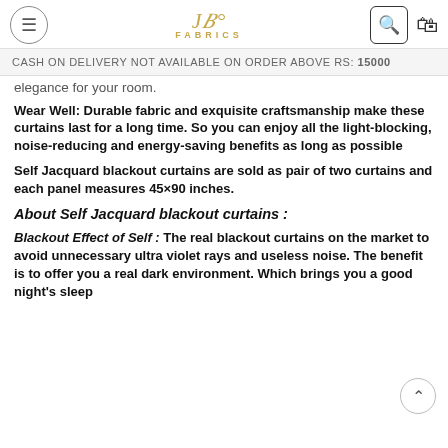JB Fabrics (logo) with menu, search, and cart icons
CASH ON DELIVERY NOT AVAILABLE ON ORDER ABOVE RS: 15000
elegance for your room.
Wear Well: Durable fabric and exquisite craftsmanship make these curtains last for a long time. So you can enjoy all the light-blocking, noise-reducing and energy-saving benefits as long as possible
Self Jacquard blackout curtains are sold as pair of two curtains and each panel measures 45×90 inches.
About Self Jacquard blackout curtains :
Blackout Effect of Self : The real blackout curtains on the market to avoid unnecessary ultra violet rays and useless noise. The benefit is to offer you a real dark environment. Which brings you a good night's sleep